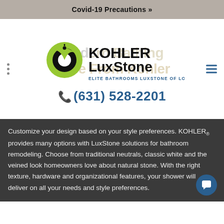Covid-19 Precautions »
[Figure (logo): KOHLER LuxStone logo with green and black circular icon, and text ELITE BATHROOMS LUXSTONE OF LONG ISLAND]
(631) 528-2201
Customize your design based on your style preferences. KOHLER® provides many options with LuxStone solutions for bathroom remodeling. Choose from traditional neutrals, classic white and the veined look homeowners love about natural stone. With the right texture, hardware and organizational features, your shower will deliver on all your needs and style preferences.